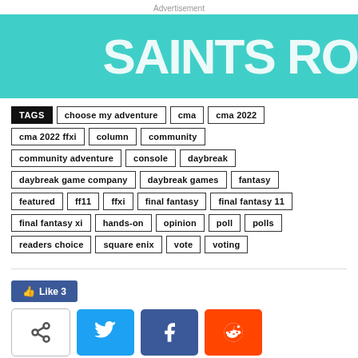Advertisement
[Figure (illustration): Teal/turquoise banner advertisement with white bold text reading SAINTS RO (partially cropped) on right side]
TAGS: choose my adventure, cma, cma 2022, cma 2022 ffxi, column, community, community adventure, console, daybreak, daybreak game company, daybreak games, fantasy, featured, ff11, ffxi, final fantasy, final fantasy 11, final fantasy xi, hands-on, opinion, poll, polls, readers choice, square enix, vote, voting
Like 3
[Figure (screenshot): Social share buttons: native share, Twitter, Facebook, Reddit]